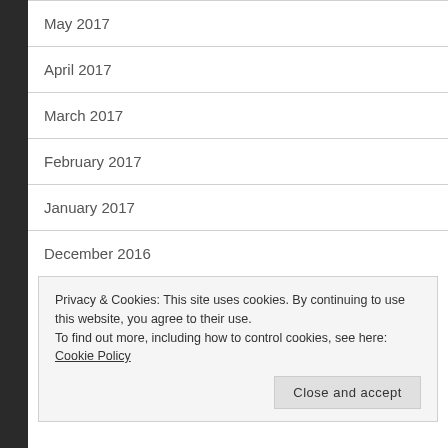May 2017
April 2017
March 2017
February 2017
January 2017
December 2016
Privacy & Cookies: This site uses cookies. By continuing to use this website, you agree to their use.
To find out more, including how to control cookies, see here: Cookie Policy
Close and accept